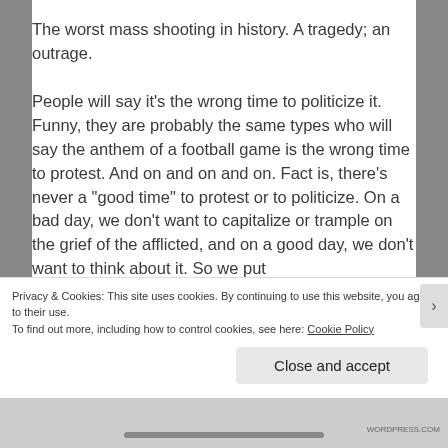The worst mass shooting in history. A tragedy; an outrage.
People will say it’s the wrong time to politicize it. Funny, they are probably the same types who will say the anthem of a football game is the wrong time to protest. And on and on and on. Fact is, there’s never a “good time” to protest or to politicize. On a bad day, we don’t want to capitalize or trample on the grief of the afflicted, and on a good day, we don’t want to think about it. So we put
Privacy & Cookies: This site uses cookies. By continuing to use this website, you agree to their use.
To find out more, including how to control cookies, see here: Cookie Policy
Close and accept